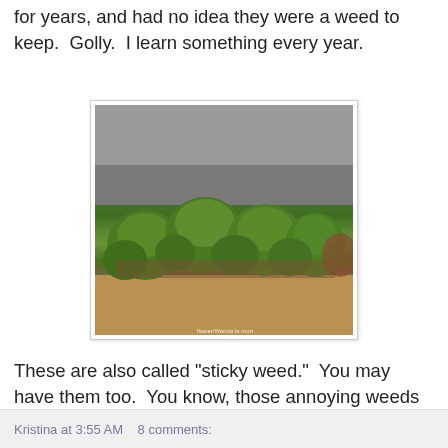for years, and had no idea they were a weed to keep.  Golly.  I learn something every year.
[Figure (photo): Photograph of small green rosette-shaped plants (sticky weed / cleavers) growing along a concrete wall edge on sandy soil.]
These are also called "sticky weed."  You may have them too.  You know, those annoying weeds that stick to everything?  Well, my lymph nodes were swollen and ginger and lemon wasn't kicking it's butt.
Kristina at 3:55 AM    8 comments: